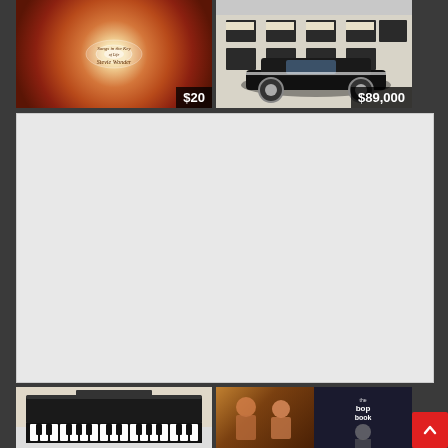[Figure (photo): Stevie Wonder album cover with swirling flower/rose design in orange and brown tones with text in center. Price tag showing $20 in bottom right corner.]
[Figure (photo): Classic black vintage Corvette convertible parked in front of a white building with black shutters. Price tag showing $89,000 in bottom right corner.]
[Figure (screenshot): Large white/light gray blank content area, likely an advertisement or map embed placeholder.]
[Figure (photo): Black grand piano or keyboard instrument photographed from above/side angle.]
[Figure (photo): Two partial album covers side by side - left shows people in orange/warm tones, right shows dark album with text.]